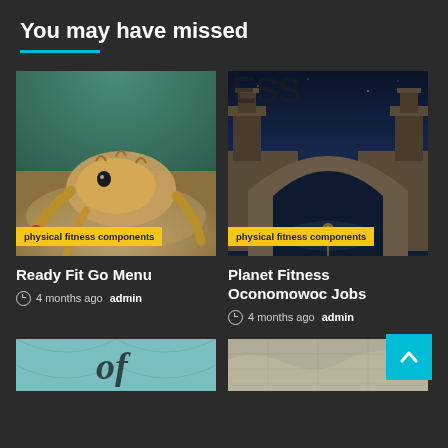You may have missed
[Figure (photo): Close-up underwater photo of an octopus or sea creature on sandy ocean floor with red-tipped appendages. Yellow tag reads 'physical fitness components'.]
physical fitness components
Ready Fit Go Menu
4 months ago  admin
[Figure (photo): Dusk photo of a historic stone bridge with an arched gateway over a canal, towers visible against a blue evening sky. Yellow tag reads 'physical fitness components'. Text 'ESS' visible in top-left corner.]
physical fitness components
Planet Fitness Oconomowoc Jobs
4 months ago  admin
[Figure (photo): Partial view of a teal/mint decorative background with cursive text 'of' visible, bottom-left card image.]
[Figure (photo): Partial view of a stone/map textured background, bottom-right card image.]